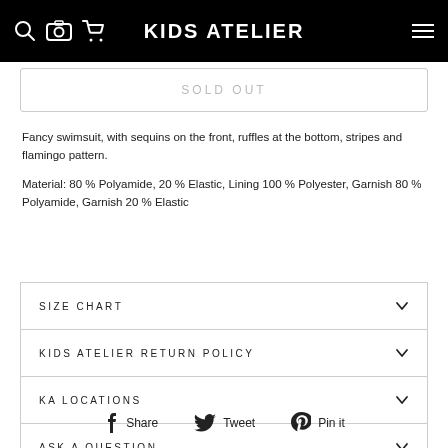KIDS ATELIER
SOLD OUT
Fancy swimsuit, with sequins on the front, ruffles at the bottom, stripes and flamingo pattern.

Material: 80 % Polyamide, 20 % Elastic, Lining 100 % Polyester, Garnish 80 % Polyamide, Garnish 20 % Elastic
SIZE CHART
KIDS ATELIER RETURN POLICY
KA LOCATIONS
ASK A QUESTION
Share   Tweet   Pin it